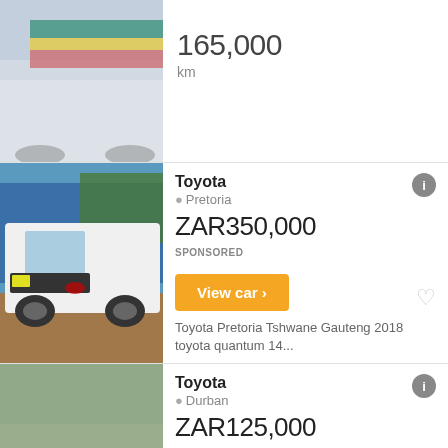[Figure (photo): Partial view of a vehicle with South African flag graphics, top of page]
165,000
km
[Figure (photo): White Toyota HiAce/Quantum minibus van parked outside]
Toyota
Pretoria
ZAR350,000
SPONSORED
View car
Toyota Pretoria Tshwane Gauteng 2018 toyota quantum 14...
[Figure (photo): Interior dashboard view of a Toyota vehicle]
Toyota
Durban
ZAR125,000
SPONSORED
View car
Toyota eThekwini eThekwini Kwazulu Natal im selling a...
[Figure (photo): Partial view of another vehicle at bottom of page]
Toyota Sequoia